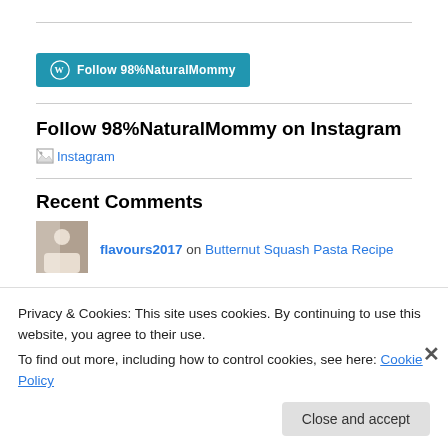[Figure (screenshot): WordPress Follow button: blue button with WordPress logo and text 'Follow 98%NaturalMommy']
Follow 98%NaturalMommy on Instagram
[Figure (screenshot): Broken image placeholder labeled 'Instagram']
Recent Comments
[Figure (photo): Small avatar photo of a person]
flavours2017 on Butternut Squash Pasta Recipe
Privacy & Cookies: This site uses cookies. By continuing to use this website, you agree to their use.
To find out more, including how to control cookies, see here: Cookie Policy
Close and accept